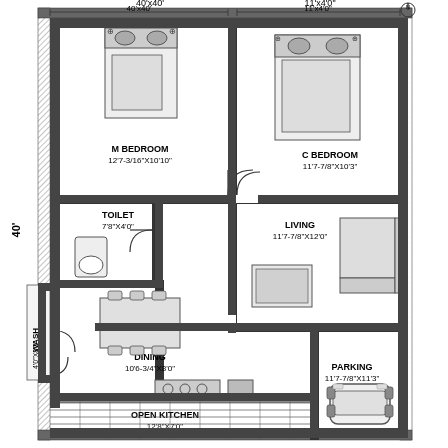[Figure (engineering-diagram): Architectural floor plan of a residential house showing M Bedroom (12'7-3/16"x10'10"), C Bedroom (11'7-7/8"x10'3"), Toilet (7'8"x4'0"), Wash (4'0"x8'3"), Living (11'7-7/8"x12'0"), Dining (10'6-3/4"x8'0"), Open Kitchen (12'8"x7'0"), Parking (11'7-7/8"x11'3"). Overall dimension 40' on left side. Top dimensions partially visible: 40'x40' and 11'x4'0".]